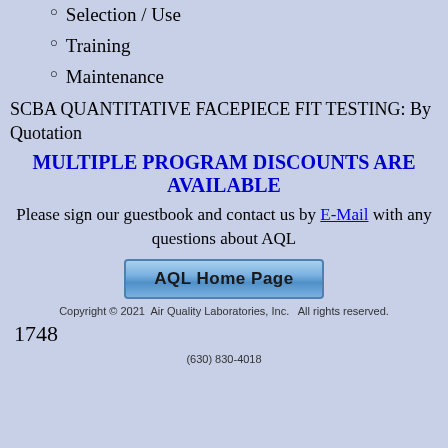Selection / Use
Training
Maintenance
SCBA QUANTITATIVE FACEPIECE FIT TESTING: By Quotation
MULTIPLE PROGRAM DISCOUNTS ARE AVAILABLE
Please sign our guestbook and contact us by E-Mail with any questions about AQL
[Figure (other): AQL Home Page button]
Copyright © 2021  Air Quality Laboratories, Inc.   All rights reserved.
1748
(630) 830-4018